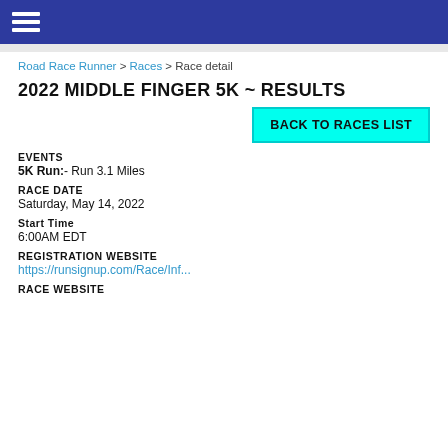Road Race Runner > Races > Race detail
2022 MIDDLE FINGER 5K ~ RESULTS
BACK TO RACES LIST
EVENTS
5K Run:- Run 3.1 Miles
RACE DATE
Saturday, May 14, 2022
Start Time
6:00AM EDT
REGISTRATION WEBSITE
https://runsignup.com/Race/Inf...
RACE WEBSITE